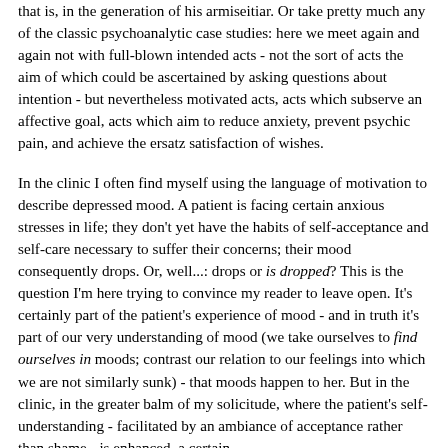that is, in the generation of his armiseitiar. Or take pretty much any of the classic psychoanalytic case studies: here we meet again and again not with full-blown intended acts - not the sort of acts the aim of which could be ascertained by asking questions about intention - but nevertheless motivated acts, acts which subserve an affective goal, acts which aim to reduce anxiety, prevent psychic pain, and achieve the ersatz satisfaction of wishes.
In the clinic I often find myself using the language of motivation to describe depressed mood. A patient is facing certain anxious stresses in life; they don't yet have the habits of self-acceptance and self-care necessary to suffer their concerns; their mood consequently drops. Or, well...: drops or is dropped? This is the question I'm here trying to convince my reader to leave open. It's certainly part of the patient's experience of mood - and in truth it's part of our very understanding of mood (we take ourselves to find ourselves in moods; contrast our relation to our feelings into which we are not similarly sunk) - that moods happen to her. But in the clinic, in the greater balm of my solicitude, where the patient's self-understanding - facilitated by an ambiance of acceptance rather than shame - is enhanced, a certain